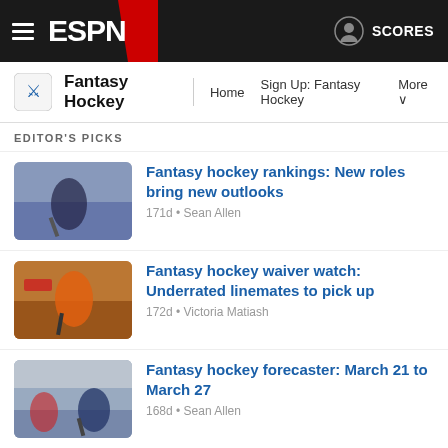ESPN Fantasy Hockey navigation bar with hamburger menu, ESPN logo, SCORES link
Fantasy Hockey — Home | Sign Up: Fantasy Hockey | More
EDITOR'S PICKS
[Figure (photo): Hockey player skating with puck thumbnail]
Fantasy hockey rankings: New roles bring new outlooks — 171d • Sean Allen
[Figure (photo): Hockey player in orange jersey thumbnail]
Fantasy hockey waiver watch: Underrated linemates to pick up — 172d • Victoria Matiash
[Figure (photo): Hockey goalie and player action thumbnail]
Fantasy hockey forecaster: March 21 to March 27 — 168d • Sean Allen
Minnesota Wild get Marc-Andre Fleury from the Chicago Blackhawks: Fantasy managers loyal to Cam